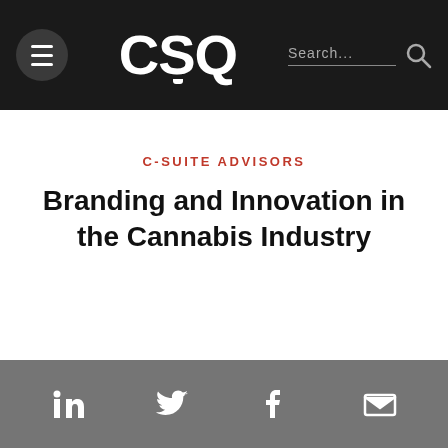CSQ
C-SUITE ADVISORS
Branding and Innovation in the Cannabis Industry
LinkedIn, Twitter, Facebook, Email social share icons